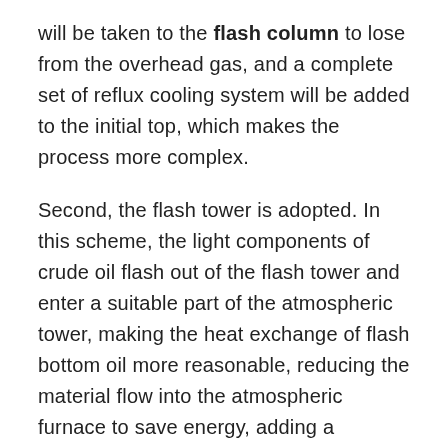will be taken to the flash column to lose from the overhead gas, and a complete set of reflux cooling system will be added to the initial top, which makes the process more complex.
Second, the flash tower is adopted. In this scheme, the light components of crude oil flash out of the flash tower and enter a suitable part of the atmospheric tower, making the heat exchange of flash bottom oil more reasonable, reducing the material flow into the atmospheric furnace to save energy, adding a compressor on the top of the atmospheric tower to compress and boost the overhead non condensable gas, and the overhead oil uses the pump to boost and the overhead gas after heating to compress slightly back and merge into the